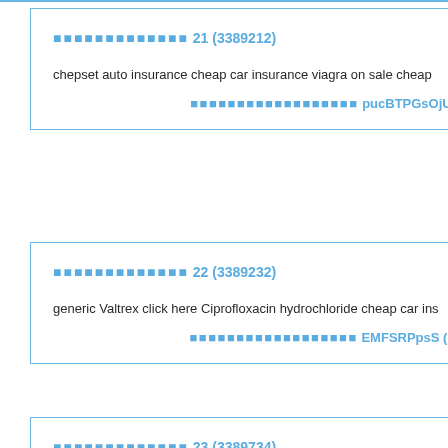ประกาศ 21 (3389212)
chepset auto insurance cheap car insurance viagra on sale cheap
ประกาศโดย pucBTPGsOjU5 (ll9ej0y53cp-a
ประกาศ 22 (3389232)
generic Valtrex click here Ciprofloxacin hydrochloride cheap car ins
ประกาศโดย EMFSRPpsS (7kp1ga3rn-at-ou
ประกาศ 23 (3389734)